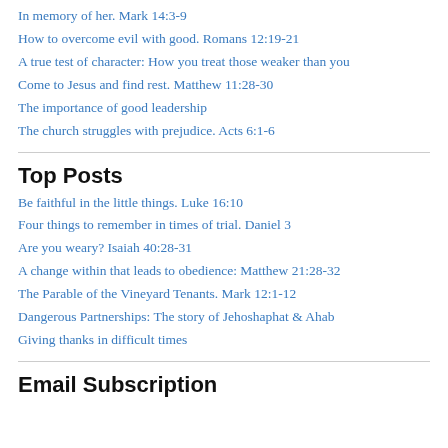In memory of her. Mark 14:3-9
How to overcome evil with good. Romans 12:19-21
A true test of character: How you treat those weaker than you
Come to Jesus and find rest. Matthew 11:28-30
The importance of good leadership
The church struggles with prejudice. Acts 6:1-6
Top Posts
Be faithful in the little things. Luke 16:10
Four things to remember in times of trial. Daniel 3
Are you weary? Isaiah 40:28-31
A change within that leads to obedience: Matthew 21:28-32
The Parable of the Vineyard Tenants. Mark 12:1-12
Dangerous Partnerships: The story of Jehoshaphat & Ahab
Giving thanks in difficult times
Email Subscription